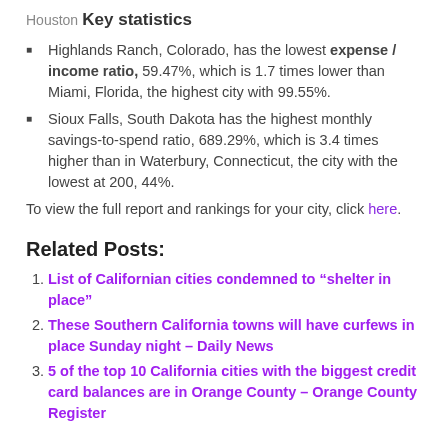Houston
Key statistics
Highlands Ranch, Colorado, has the lowest expense / income ratio, 59.47%, which is 1.7 times lower than Miami, Florida, the highest city with 99.55%.
Sioux Falls, South Dakota has the highest monthly savings-to-spend ratio, 689.29%, which is 3.4 times higher than in Waterbury, Connecticut, the city with the lowest at 200, 44%.
To view the full report and rankings for your city, click here.
Related Posts:
List of Californian cities condemned to “shelter in place”
These Southern California towns will have curfews in place Sunday night – Daily News
5 of the top 10 California cities with the biggest credit card balances are in Orange County – Orange County Register